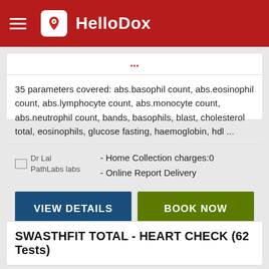HelloDox
35 parameters covered: abs.basophil count, abs.eosinophil count, abs.lymphocyte count, abs.monocyte count, abs.neutrophil count, bands, basophils, blast, cholesterol total, eosinophils, glucose fasting, haemoglobin, hdl ...
Dr Lal PathLabs labs
- Home Collection charges:0
- Online Report Delivery
VIEW DETAILS
BOOK NOW
SWASTHFIT TOTAL - HEART CHECK (62 Tests)